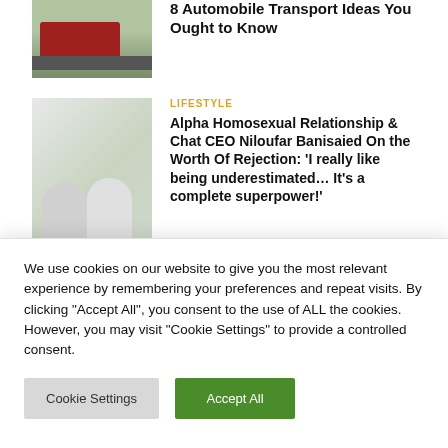8 Automobile Transport Ideas You Ought to Know
[Figure (photo): Car transport truck on a highway with autumn trees]
[Figure (photo): Two men smiling and working together at a table]
LIFESTYLE
Alpha Homosexual Relationship & Chat CEO Niloufar Banisaied On the Worth Of Rejection: ‘I really like being underestimated… It’s a complete superpower!’
[Figure (photo): Partial outdoor photo, partially visible]
LIFESTYLE
We use cookies on our website to give you the most relevant experience by remembering your preferences and repeat visits. By clicking “Accept All”, you consent to the use of ALL the cookies. However, you may visit "Cookie Settings" to provide a controlled consent.
Cookie Settings
Accept All